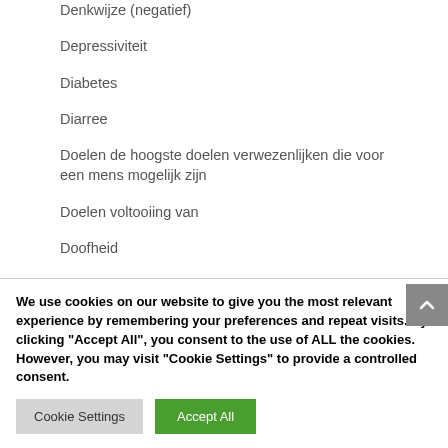Denkwijze (negatief)
Depressiviteit
Diabetes
Diarree
Doelen de hoogste doelen verwezenlijken die voor een mens mogelijk zijn
Doelen voltooiing van
Doofheid
Draadloze Telefoon (straling)
We use cookies on our website to give you the most relevant experience by remembering your preferences and repeat visits. By clicking "Accept All", you consent to the use of ALL the cookies. However, you may visit "Cookie Settings" to provide a controlled consent.